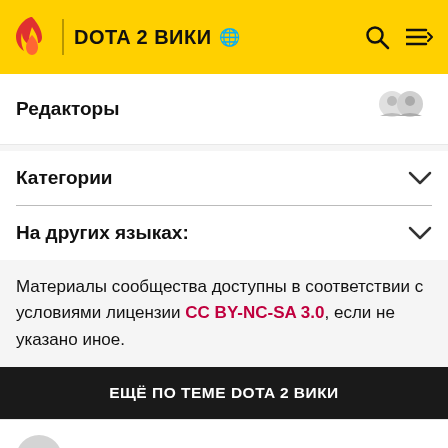DOTA 2 ВИКИ
Редакторы
Категории
На других языках:
Материалы сообщества доступны в соответствии с условиями лицензии CC BY-NC-SA 3.0, если не указано иное.
ЕЩЁ ПО ТЕМЕ DOTA 2 ВИКИ
1  Герои